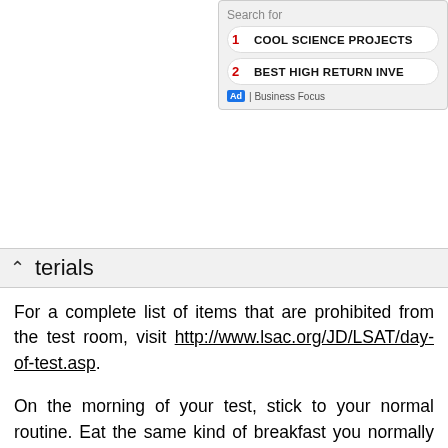[Figure (screenshot): Search overlay widget showing 'Search for' label with two items: '1 COOL SCIENCE PROJECTS' and '2 BEST HIGH RETURN INVE...' with an Ad badge and 'Business Focus' label]
terials
For a complete list of items that are prohibited from the test room, visit http://www.lsac.org/JD/LSAT/day-of-test.asp.
On the morning of your test, stick to your normal routine. Eat the same kind of breakfast you normally eat, and drink the same amount of coffee or soda or whatever it is that you normally drink. Studies show that test takers perform better if they've had a healthy breakfast,